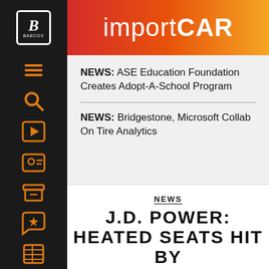importCAR
NEWS: ASE Education Foundation Creates Adopt-A-School Program
NEWS: Bridgestone, Microsoft Collab On Tire Analytics
NEWS
J.D. POWER: HEATED SEATS HIT BY